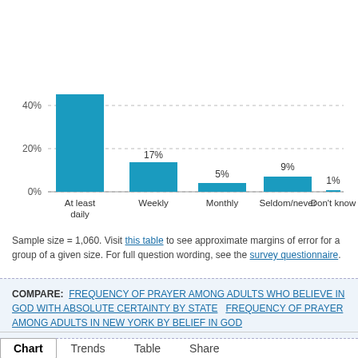[Figure (bar-chart): Frequency of prayer among adults who believe in God with absolute certainty]
Sample size = 1,060. Visit this table to see approximate margins of error for a group of a given size. For full question wording, see the survey questionnaire.
COMPARE: FREQUENCY OF PRAYER AMONG ADULTS WHO BELIEVE IN GOD WITH ABSOLUTE CERTAINTY BY STATE   FREQUENCY OF PRAYER AMONG ADULTS IN NEW YORK BY BELIEF IN GOD